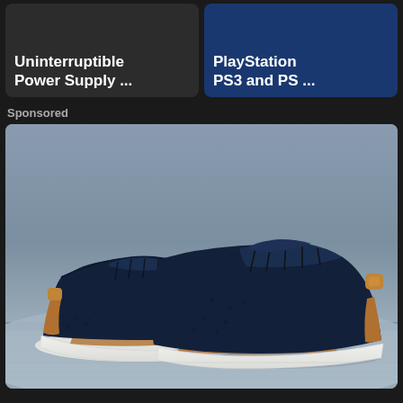[Figure (screenshot): Two dark UI tiles at top. Left tile shows 'Uninterruptible Power Supply ...' text on dark background. Right tile shows 'PlayStation PS3 and PS ...' text on navy blue background.]
Sponsored
[Figure (photo): A pair of navy blue knit sneakers with white soles and tan/brown leather accent trim around the heel and tongue, photographed on a light blue/grey sandy surface against a blue-grey background. Product advertisement photo.]